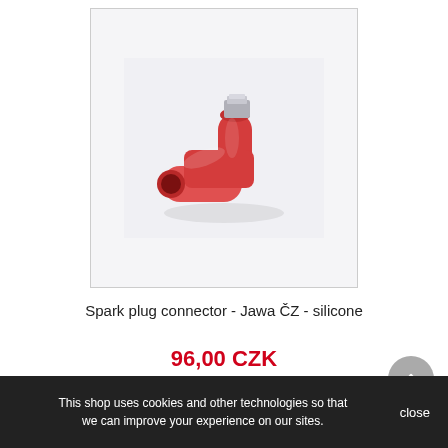[Figure (photo): Red silicone spark plug connector (L-shaped) with a silver metal terminal, photographed on a light gray/white background.]
Spark plug connector - Jawa ČZ - silicone
96,00 CZK
This shop uses cookies and other technologies so that we can improve your experience on our sites.  close